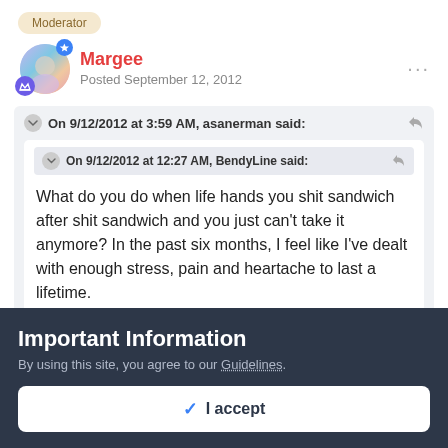Moderator
Margee
Posted September 12, 2012
On 9/12/2012 at 3:59 AM, asanerman said:
On 9/12/2012 at 12:27 AM, BendyLine said:
What do you do when life hands you shit sandwich after shit sandwich and you just can't take it anymore? In the past six months, I feel like I've dealt with enough stress, pain and heartache to last a lifetime.
Important Information
By using this site, you agree to our Guidelines.
✓ I accept